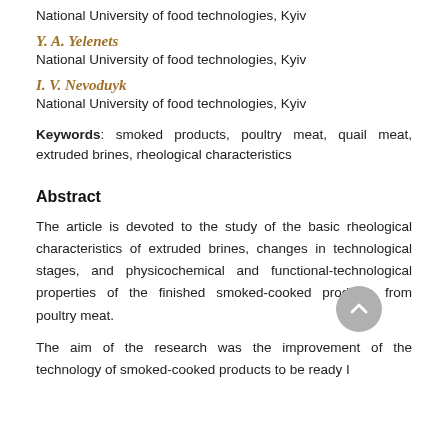National University of food technologies, Kyiv
Y. A. Yelenets
National University of food technologies, Kyiv
I. V. Nevoduyk
National University of food technologies, Kyiv
Keywords: smoked products, poultry meat, quail meat, extruded brines, rheological characteristics
Abstract
The article is devoted to the study of the basic rheological characteristics of extruded brines, changes in technological stages, and physicochemical and functional-technological properties of the finished smoked-cooked products from poultry meat.
The aim of the research was the improvement of the technology of smoked-cooked products to be ready I